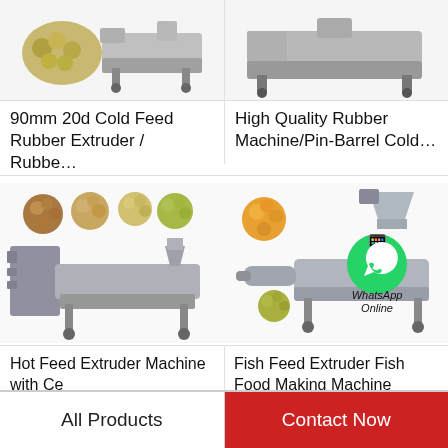[Figure (photo): 90mm 20d Cold Feed Rubber Extruder machine with pellets shown]
90mm 20d Cold Feed Rubber Extruder / Rubbe…
[Figure (photo): High Quality Rubber Machine/Pin-Barrel Cold Feed machine]
High Quality Rubber Machine/Pin-Barrel Cold…
[Figure (photo): Hot Feed Extruder Machine with Ce, showing various pellets and extruder machine]
Hot Feed Extruder Machine with Ce
[Figure (photo): Fish Feed Extruder Fish Food Making Machine with WhatsApp Online overlay]
Fish Feed Extruder Fish Food Making Machine
All Products
Contact Now